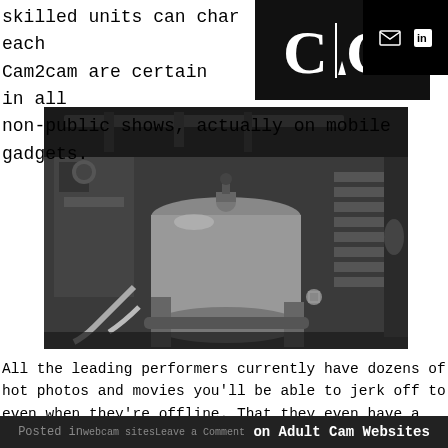skilled units can charge $3. 50 each Cam2cam are certain totally free in all non-public shows, actually on mobile gadgets.
[Figure (logo): CoG logo — white lettering on black background with stylized ink drop]
[Figure (photo): Black and white industrial photo showing large metal tanks, pipes, valves and machinery in an industrial facility]
All the leading performers currently have dozens of hot photos and movies you'll be able to jerk off to even when they're offline. That they even have a “Top Models” part, and so yow will quickly realize the dirtiest bitches to jack off to devoid of lacking a beat. StripChat takes the jack off
Posted in webcam sitesLeave a Comment on Adult Cam Websites